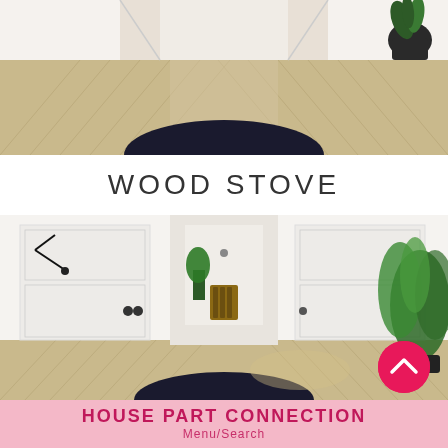[Figure (photo): Top-down view of a hallway with chevron herringbone wood floor pattern and a dark circular rug, bright white walls, and a black planter with plant in corner.]
WOOD STOVE
[Figure (photo): Interior hallway of a modern home with white walls, white paneled doors, chevron wood flooring, a large tropical plant in a black pot, wall-mounted angular lamp, and view into a room with wood stove logs.]
HOUSE PART CONNECTION
Menu/Search